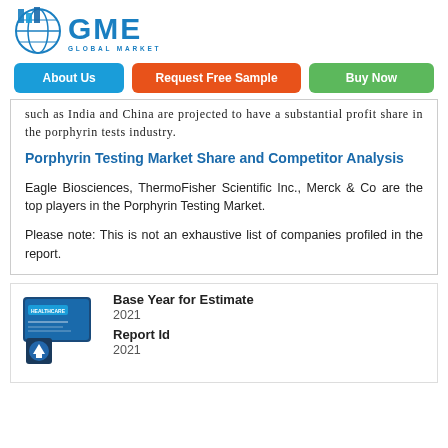[Figure (logo): GME Global Market Estimates logo with bar chart icon and globe icon, blue text]
[Figure (infographic): Navigation buttons: About Us (blue), Request Free Sample (orange), Buy Now (green)]
such as India and China are projected to have a substantial profit share in the porphyrin tests industry.
Porphyrin Testing Market Share and Competitor Analysis
Eagle Biosciences, ThermoFisher Scientific Inc., Merck & Co are the top players in the Porphyrin Testing Market.
Please note: This is not an exhaustive list of companies profiled in the report.
[Figure (illustration): Healthcare report cover image thumbnail with upward arrow icon]
Base Year for Estimate
2021
Report Id
2021